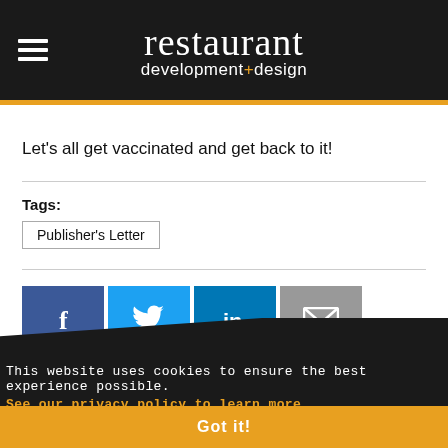restaurant development+design
Let's all get vaccinated and get back to it!
Tags:
Publisher's Letter
[Figure (infographic): Social sharing buttons: Facebook (blue), Twitter (light blue), LinkedIn (dark blue), Email (gray)]
This website uses cookies to ensure the best experience possible. See our privacy policy to learn more.
Got it!